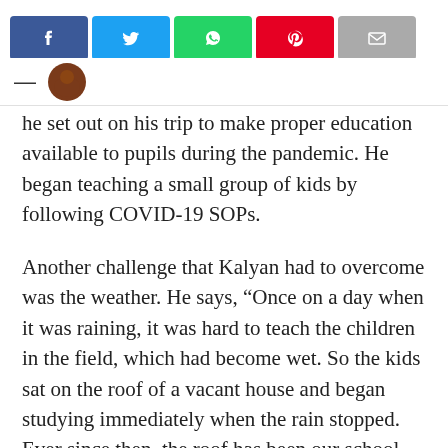[Figure (other): Social media sharing buttons: Facebook, Twitter, WhatsApp, Pinterest, Email]
he set out on his trip to make proper education available to pupils during the pandemic. He began teaching a small group of kids by following COVID-19 SOPs.
Another challenge that Kalyan had to overcome was the weather. He says, “Once on a day when it was raining, it was hard to teach the children in the field, which had become wet. So the kids sat on the roof of a vacant house and began studying immediately when the rain stopped. Ever since then, the roof has been our school every time it rains. The owner of the property was more than glad to help them when he learned the roof of his house had become a classroom. “